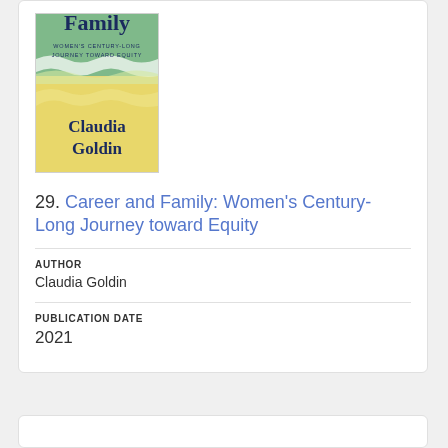[Figure (illustration): Book cover of 'Career and Family: Women's Century-Long Journey Toward Equity' by Claudia Goldin. Cover has green, white and yellow wave design with dark navy title text and author name.]
29. Career and Family: Women's Century-Long Journey toward Equity
AUTHOR
Claudia Goldin
PUBLICATION DATE
2021